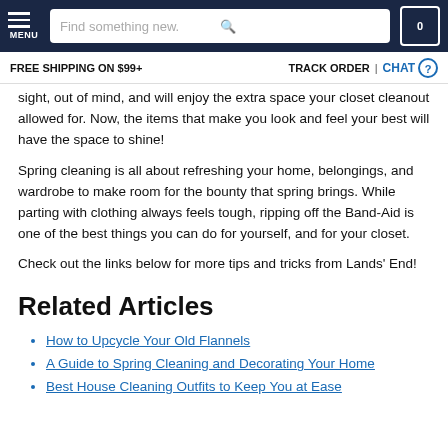MENU | Find something new. | 0
FREE SHIPPING ON $99+ | TRACK ORDER | CHAT
sight, out of mind, and will enjoy the extra space your closet cleanout allowed for. Now, the items that make you look and feel your best will have the space to shine!
Spring cleaning is all about refreshing your home, belongings, and wardrobe to make room for the bounty that spring brings. While parting with clothing always feels tough, ripping off the Band-Aid is one of the best things you can do for yourself, and for your closet.
Check out the links below for more tips and tricks from Lands' End!
Related Articles
How to Upcycle Your Old Flannels
A Guide to Spring Cleaning and Decorating Your Home
Best House Cleaning Outfits to Keep You at Ease